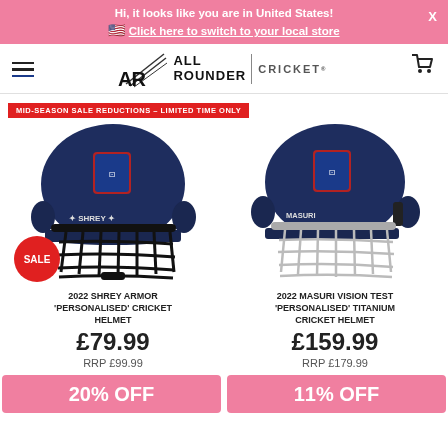Hi, it looks like you are in United States!
🇺🇸 Click here to switch to your local store
[Figure (logo): All Rounder Cricket logo with AR monogram and text]
MID-SEASON SALE REDUCTIONS – LIMITED TIME ONLY
[Figure (photo): 2022 Shrey Armor Personalised cricket helmet in navy blue with black steel grill and club crest, SALE badge overlay]
[Figure (photo): 2022 Masuri Vision Test Personalised Titanium cricket helmet in navy blue with silver titanium grill and club crest]
2022 SHREY ARMOR 'PERSONALISED' CRICKET HELMET
£79.99
RRP £99.99
2022 MASURI VISION TEST 'PERSONALISED' TITANIUM CRICKET HELMET
£159.99
RRP £179.99
20% OFF
11% OFF